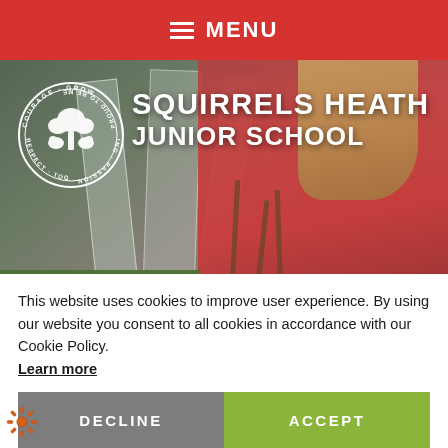MENU
[Figure (photo): School hero image showing a student in a red cardigan tending to plants in a greenhouse/garden setting]
SQUIRRELS HEATH JUNIOR SCHOOL
This website uses cookies to improve user experience. By using our website you consent to all cookies in accordance with our Cookie Policy. Learn more
DECLINE
ACCEPT